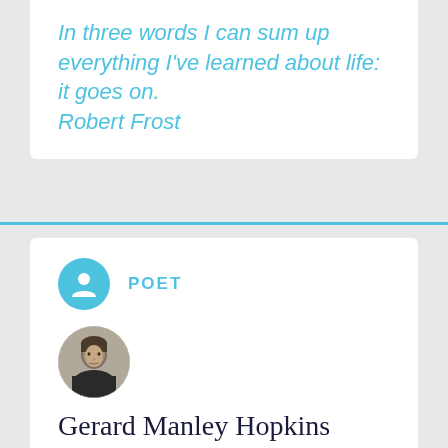In three words I can sum up everything I've learned about life: it goes on. Robert Frost
POET
[Figure (photo): Circular portrait photo of Gerard Manley Hopkins in grayscale]
Gerard Manley Hopkins
B. 1844  D. 1889
“A great work by an Englishman is like a great battle won by England. It is an unfading bay tree.”